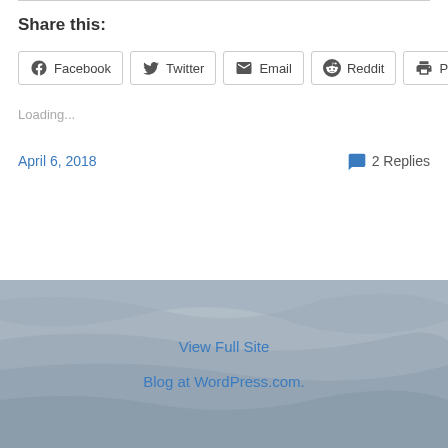Share this:
Facebook  Twitter  Email  Reddit  Print
Loading...
April 6, 2018    2 Replies
View Full Site
Blog at WordPress.com.